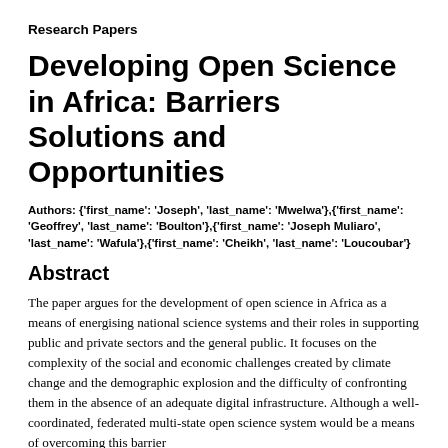Research Papers
Developing Open Science in Africa: Barriers Solutions and Opportunities
Authors: {'first_name': 'Joseph', 'last_name': 'Mwelwa'},{'first_name': 'Geoffrey', 'last_name': 'Boulton'},{'first_name': 'Joseph Muliaro', 'last_name': 'Wafula'},{'first_name': 'Cheikh', 'last_name': 'Loucoubar'}
Abstract
The paper argues for the development of open science in Africa as a means of energising national science systems and their roles in supporting public and private sectors and the general public. It focuses on the complexity of the social and economic challenges created by climate change and the demographic explosion and the difficulty of confronting them in the absence of an adequate digital infrastructure. Although a well-coordinated, federated multi-state open science system would be a means of overcoming this barrier